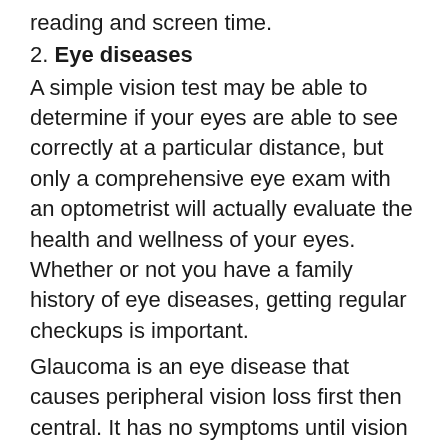reading and screen time.
2. Eye diseases
A simple vision test may be able to determine if your eyes are able to see correctly at a particular distance, but only a comprehensive eye exam with an optometrist will actually evaluate the health and wellness of your eyes. Whether or not you have a family history of eye diseases, getting regular checkups is important.
Glaucoma is an eye disease that causes peripheral vision loss first then central. It has no symptoms until vision loss has occurred. It cannot be detected without an eye exam.
Macular degeneration, diabetic eye